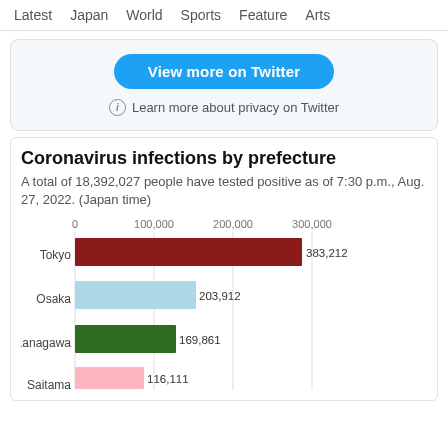Latest   Japan   World   Sports   Feature   Arts
[Figure (screenshot): Twitter embed block with 'View more on Twitter' button and privacy notice]
Coronavirus infections by prefecture
A total of 18,392,027 people have tested positive as of 7:30 p.m., Aug. 27, 2022. (Japan time)
[Figure (bar-chart): Coronavirus infections by prefecture]